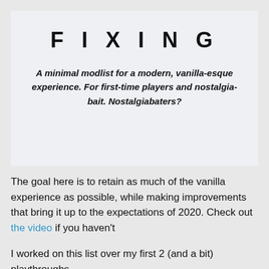FIXING
A minimal modlist for a modern, vanilla-esque experience. For first-time players and nostalgia-bait. Nostalgiabaters?
The goal here is to retain as much of the vanilla experience as possible, while making improvements that bring it up to the expectations of 2020. Check out the video if you haven't
I worked on this list over my first 2 (and a bit) playthroughs,